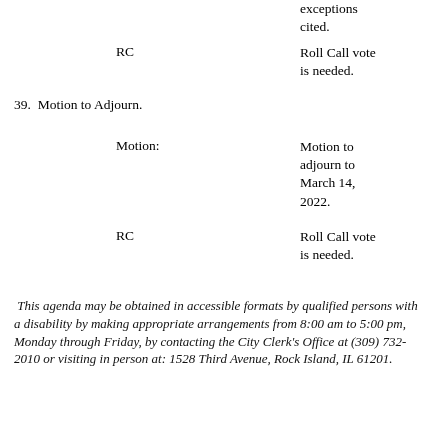exceptions cited.
RC
Roll Call vote is needed.
39.  Motion to Adjourn.
Motion:
Motion to adjourn to March 14, 2022.
RC
Roll Call vote is needed.
This agenda may be obtained in accessible formats by qualified persons with a disability by making appropriate arrangements from 8:00 am to 5:00 pm, Monday through Friday, by contacting the City Clerk's Office at (309) 732-2010 or visiting in person at: 1528 Third Avenue, Rock Island, IL 61201.